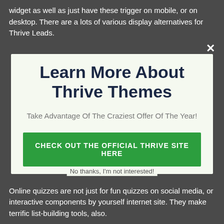widget as well as just have these trigger on mobile, or on desktop. There are a lots of various display alternatives for Thrive Leads.
[Figure (screenshot): Close button (×) in top-right corner of modal overlay]
Learn More About Thrive Themes
Take Advantage Of The Craziest Offer Of The Year!
CHECK OUT THE OFFICIAL THRIVE SITE HERE
No thanks, I'm not interested!
Online quizzes are not just for fun quizzes on social media, or interactive components by yourself internet site. They make terrific list-building tools, also.